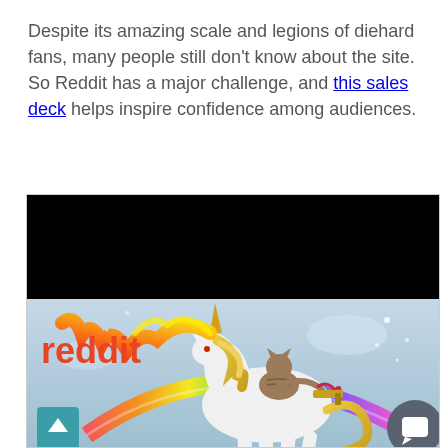Despite its amazing scale and legions of diehard fans, many people still don't know about the site. So Reddit has a major challenge, and this sales deck helps inspire confidence among audiences.
[Figure (screenshot): A screenshot of a Reddit sales deck slide. The top portion shows a black header bar. Below it is an illustrated image showing a cat riding a white unicorn shooting fire and rainbows, with the Reddit logo text in orange on the left side. A teal back-to-top button is in the bottom-left corner and a dark chat widget button is in the bottom-right.]